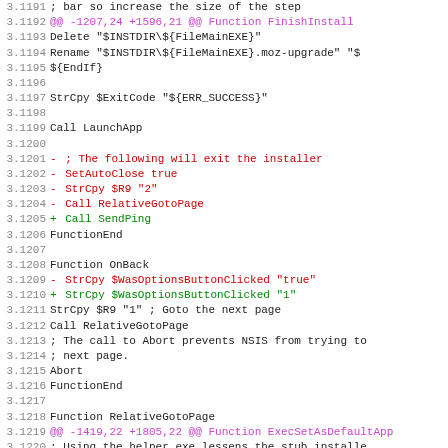[Figure (screenshot): A code diff view showing line numbers 3.1191 to 3.1222 from a source file, with additions (green), deletions (red), and hunk headers (magenta) in monospace font on white background. The content shows NSIS installer script changes.]